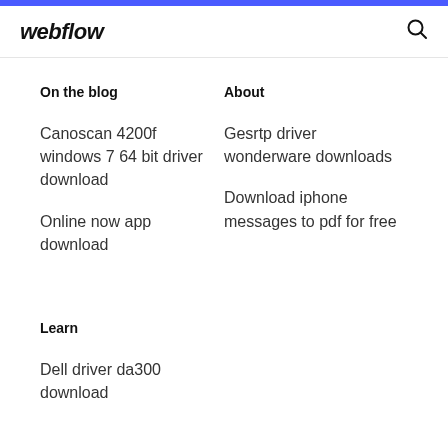webflow
On the blog
Canoscan 4200f windows 7 64 bit driver download
Online now app download
About
Gesrtp driver wonderware downloads
Download iphone messages to pdf for free
Learn
Dell driver da300 download